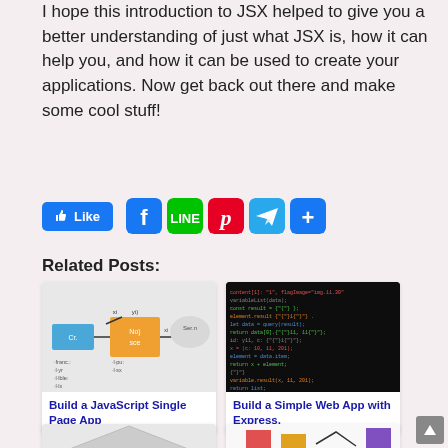I hope this introduction to JSX helped to give you a better understanding of just what JSX is, how it can help you, and how it can be used to create your applications. Now get back out there and make some cool stuff!
[Figure (infographic): Social sharing bar with Like button (blue), Facebook (blue), LINE (green), Pinterest (red), Telegram (cyan), Share (blue) icons]
Related Posts:
[Figure (screenshot): Diagram showing a JavaScript single page app architecture with boxes and arrows]
Build a JavaScript Single Page App
[Figure (screenshot): Dark background code screenshot showing web application code]
Build a Simple Web App with Express,
[Figure (illustration): Partial view of a house/building illustration]
[Figure (bar-chart): Partial bar chart with colored bars]